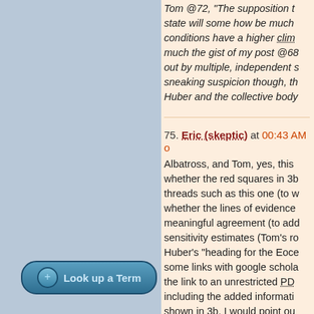Tom @72, "The supposition that state will some how be much conditions have a higher clim much the gist of my post @68 out by multiple, independent s sneaking suspicion though, th Huber and the collective body
75. Eric (skeptic) at 00:43 AM o Albatross, and Tom, yes, this whether the red squares in 3b threads such as this one (to w whether the lines of evidence meaningful agreement (to add sensitivity estimates (Tom's ro Huber's "heading for the Eoce some links with google schola the link to an unrestricted PD including the added informati shown in 3b. I would point ou point out various aspects of P a partly subjective evaluation that need to be considered w Thus the threads at SkepSci should utilize the information the OP in this thread, for exa Specifically I think the conti
[Figure (other): Gray-blue sidebar panel with a 'Look up a Term' button at the bottom featuring a circular plus icon]